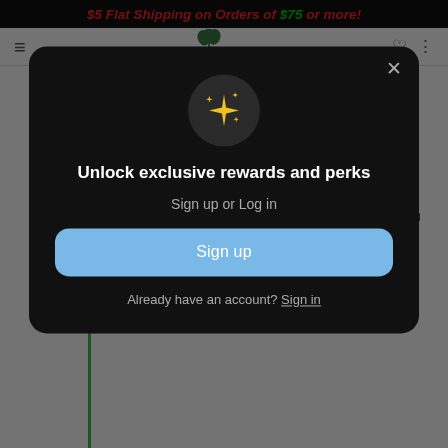$5 Flat Shipping on Orders of $75 or more!
[Figure (screenshot): Website navigation bar with hamburger menu, tree logo, heart icon, and cart icon]
Summer 2016
June 2016 Sold from house and online
July 7, 2016
Soaplicity storefront opens on Main St. in
[Figure (infographic): Modal popup with sparkle icon, 'Unlock exclusive rewards and perks', Sign up or Log in prompt, Sign up button, and Already have an account? Sign in link]